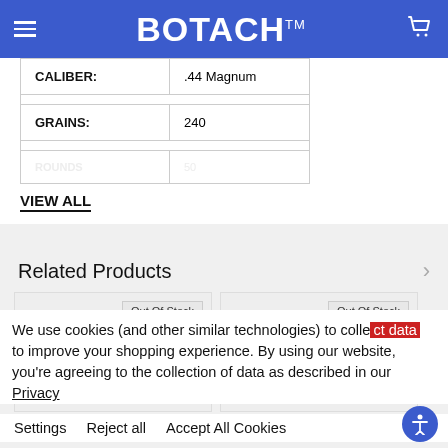BOTACH™
| Property | Value |
| --- | --- |
| CALIBER: | .44 Magnum |
| GRAINS: | 240 |
| [faded row] | [faded value] |
VIEW ALL
Related Products
[Figure (photo): Remington ammunition box (green) with two brass cartridges beside it - Out Of Stock]
[Figure (photo): PMC Bonded ammunition box (black/orange) with two brass cartridges beside it - Out Of Stock]
We use cookies (and other similar technologies) to collect data to improve your shopping experience. By using our website, you're agreeing to the collection of data as described in our Privacy
Settings   Reject all   Accept All Cookies